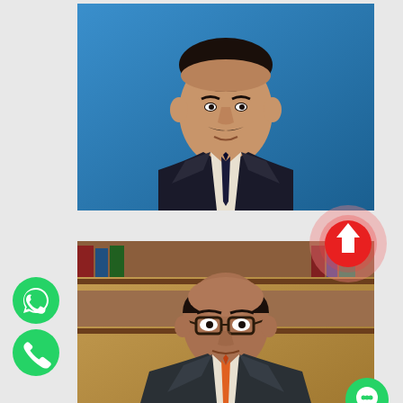[Figure (photo): Headshot of a middle-aged South Asian man with a mustache, wearing a dark suit jacket and dark tie, photographed against a blue background. The photo is in a portrait format.]
[Figure (photo): Headshot of an older South Asian man wearing glasses and a dark suit jacket with an orange tie, photographed against a warm wooden shelf background. Overlapping the photo are UI elements: a red circular upload/arrow button with a pink halo effect on the upper right, a green WhatsApp icon button on the left, a green phone icon button below it, and a green chat bubble icon button on the lower right.]